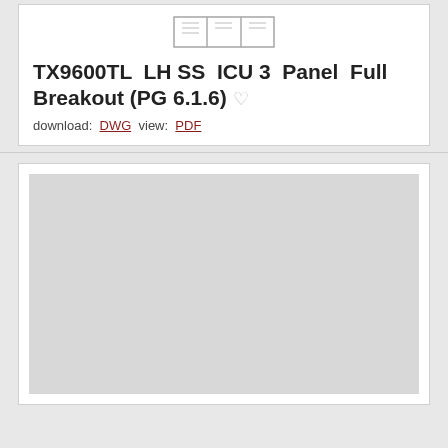[Figure (engineering-diagram): Small thumbnail/preview sketch of TX9600TL LH SS ICU 3 Panel Full Breakout engineering drawing]
TX9600TL LH SS ICU 3 Panel Full Breakout (PG 6.1.6) ♡
download: DWG view: PDF
[Figure (engineering-diagram): Large gray placeholder area showing preview of engineering drawing document]